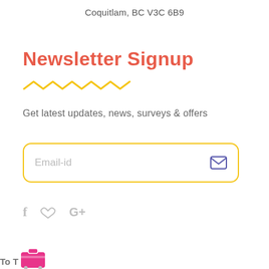Coquitlam, BC V3C 6B9
Newsletter Signup
[Figure (illustration): Yellow zigzag/wavy decorative underline beneath Newsletter Signup heading]
Get latest updates, news, surveys & offers
[Figure (other): Email input field with yellow rounded border, placeholder text 'Email-id' and a blue envelope icon on the right]
[Figure (other): Social media icons: Facebook (f), Twitter (bird), Google+ (G+) in light gray]
[Figure (logo): Bottom-left logo: text 'To Trip' with a pink/magenta suitcase icon]